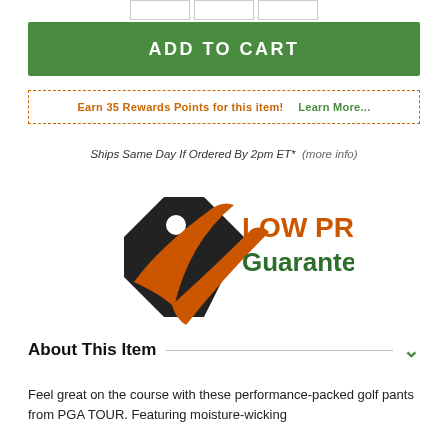[Figure (other): Partial table stub at top of page — three empty bordered cells]
ADD TO CART
Earn 35 Rewards Points for this item!  Learn More...
Ships Same Day If Ordered By 2pm ET*  (more info)
[Figure (logo): Low Price Guarantee logo: black price tag with orange checkmark and text 'LOW PRICE Guarantee']
About This Item
Feel great on the course with these performance-packed golf pants from PGA TOUR. Featuring moisture-wicking